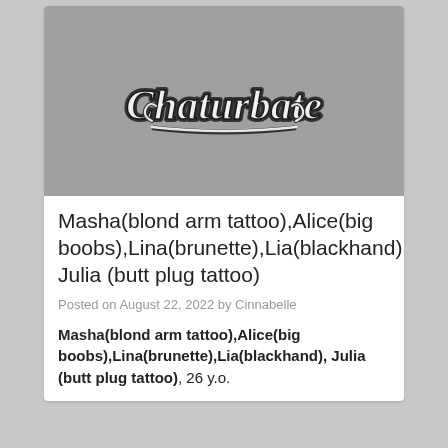[Figure (logo): Chaturbate logo in cursive script with white text and dark outline on a grey background]
Masha(blond arm tattoo),Alice(big boobs),Lina(brunette),Lia(blackhand), Julia (butt plug tattoo)
Posted on August 22, 2022 by Cinnabelle
Masha(blond arm tattoo),Alice(big boobs),Lina(brunette),Lia(blackhand), Julia (butt plug tattoo), 26 y.o.